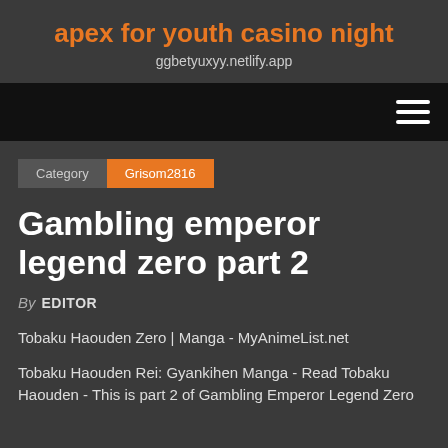apex for youth casino night
ggbetyuxyy.netlify.app
Category
Grisom2816
Gambling emperor legend zero part 2
By EDITOR
Tobaku Haouden Zero | Manga - MyAnimeList.net
Tobaku Haouden Rei: Gyankihen Manga - Read Tobaku Haouden - This is part 2 of Gambling Emperor Legend Zero